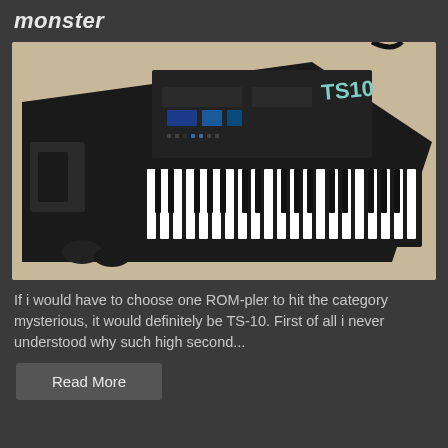monster
[Figure (photo): Photo of a Kawai TS-10 synthesizer keyboard, black body with white and black keys, viewed from a slight angle from above, placed on a beige surface. The TS-10 logo is visible in teal on the upper right of the instrument.]
If i would have to choose one ROM-pler to hit the category mysterious, it would definitely be TS-10. First of all i never understood why such high second...
Read More